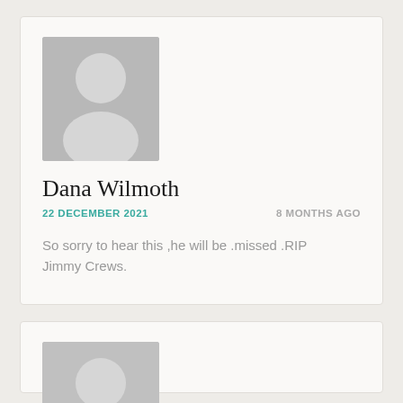[Figure (photo): Gray placeholder avatar image with silhouette of a person (head and shoulders) on a gray background]
Dana Wilmoth
22 DECEMBER 2021    8 MONTHS AGO
So sorry to hear this ,he will be .missed .RIP Jimmy Crews.
[Figure (photo): Second gray placeholder avatar image, partially visible at bottom of page]